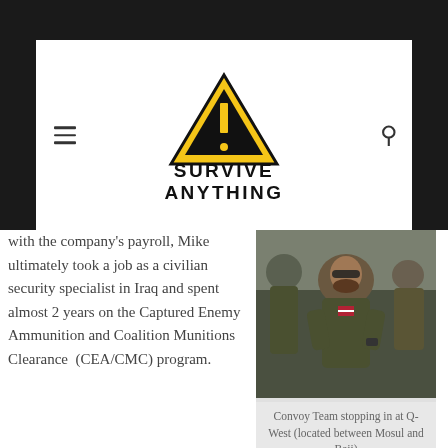Survive Anything
with the company's payroll, Mike ultimately took a job as a civilian security specialist in Iraq and spent almost 2 years on the Captured Enemy Ammunition and Coalition Munitions Clearance  (CEA/CMC) program. While working overseas as a civilian contractor, Mike provided security for Explosives Ordnance Disposal
[Figure (photo): Man in military/tactical gear with camouflage uniform and body armor, surrounded by others in similar gear]
Convoy Team stopping in at Q-West (located between Mosul and Baji)